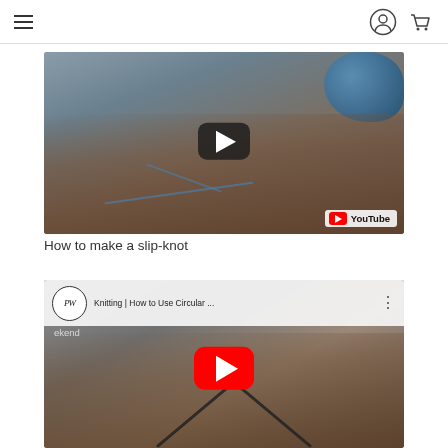Navigation bar with hamburger menu, user icon, and cart icon
[Figure (screenshot): YouTube video thumbnail showing hands working with blue yarn/string with a dark play button overlay and YouTube watermark. Title: How to make a slip-knot]
How to make a slip-knot
[Figure (screenshot): YouTube video embed showing 'Knitting | How to Use Circular ...' with PW logo, red YouTube play button, and hands knitting with circular needles]